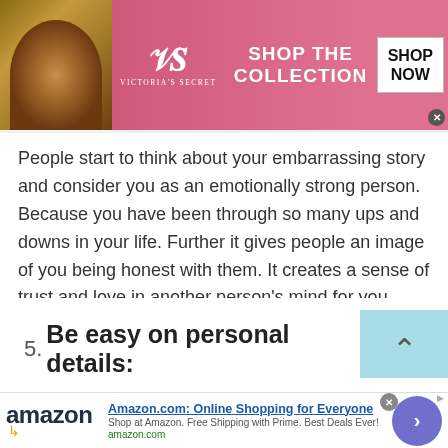[Figure (screenshot): Victoria's Secret advertisement banner with pink background, model photo, VS logo, 'SHOP THE COLLECTION' text, and 'SHOP NOW' button]
People start to think about your embarrassing story and consider you as an emotionally strong person. Because you have been through so many ups and downs in your life. Further it gives people an image of you being honest with them. It creates a sense of trust and love in another person's mind for you. Hence increasing your attractivity.
5. Be easy on personal details:
[Figure (screenshot): Amazon.com advertisement banner with Amazon logo, 'Online Shopping for Everyone' headline, description text, and circular arrow button]